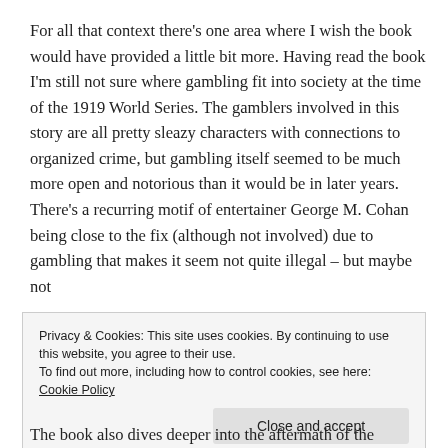For all that context there's one area where I wish the book would have provided a little bit more. Having read the book I'm still not sure where gambling fit into society at the time of the 1919 World Series. The gamblers involved in this story are all pretty sleazy characters with connections to organized crime, but gambling itself seemed to be much more open and notorious than it would be in later years. There's a recurring motif of entertainer George M. Cohan being close to the fix (although not involved) due to gambling that makes it seem not quite illegal – but maybe not
Privacy & Cookies: This site uses cookies. By continuing to use this website, you agree to their use.
To find out more, including how to control cookies, see here: Cookie Policy
[Close and accept]
The book also dives deeper into the aftermath of the